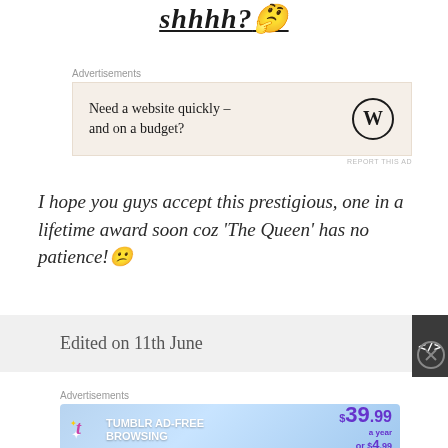shhhh? 🤔
[Figure (other): WordPress advertisement: Need a website quickly – and on a budget?]
I hope you guys accept this prestigious, one in a lifetime award soon coz 'The Queen' has no patience! 😕
Edited on 11th June
[Figure (other): Tumblr Ad-Free Browsing advertisement: $39.99 a year or $4.99 a month]